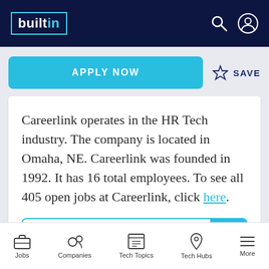builtin
APPLY NOW
SAVE
Careerlink operates in the HR Tech industry. The company is located in Omaha, NE. Careerlink was founded in 1992. It has 16 total employees. To see all 405 open jobs at Careerlink, click here.
EMAIL FOR LATER
Jobs  Companies  Tech Topics  Tech Hubs  More